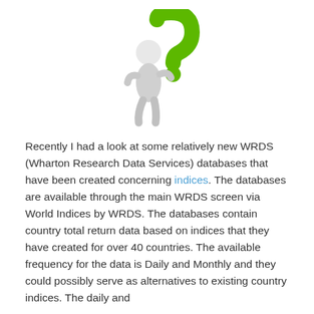[Figure (illustration): A white 3D figurine character leaning against a large bright green question mark symbol, on a white background.]
Recently I had a look at some relatively new WRDS (Wharton Research Data Services) databases that have been created concerning indices. The databases are available through the main WRDS screen via World Indices by WRDS. The databases contain country total return data based on indices that they have created for over 40 countries. The available frequency for the data is Daily and Monthly and they could possibly serve as alternatives to existing country indices. The daily and